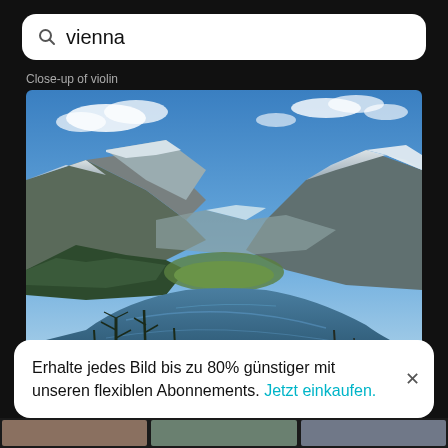vienna
Close-up of violin
[Figure (photo): Scenic view of a mountain lake with snowcapped peaks under a blue sky with clouds. A small town is visible at the far end of the lake, surrounded by forested slopes.]
Scenic view of lake and snowcapped mountains against sky
Erhalte jedes Bild bis zu 80% günstiger mit unseren flexiblen Abonnements. Jetzt einkaufen.